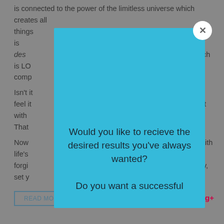is connected to the power of the limitless universe which creates all things... great... that is desired... which is LO... comp...
Isn't it... we feel... nect with... g. That...
Now... with life's... at forgi... ntly, set y...
[Figure (screenshot): Blue modal popup overlay with close button (X) in top right corner. Contains text: 'Would you like to recieve the desired results you've always wanted? Do you want a successful']
READ MORE
Share